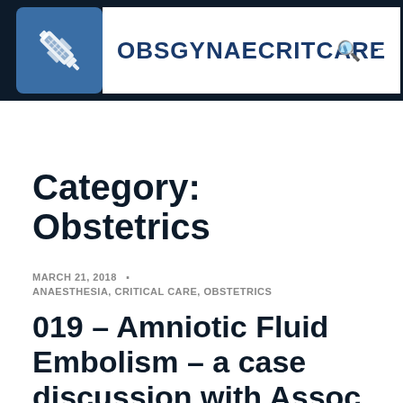[Figure (logo): ObsGynaeCritCare website header with syringe logo icon on dark navy background and site name in bold dark blue text on white banner]
Category: Obstetrics
MARCH 21, 2018 · ANAESTHESIA, CRITICAL CARE, OBSTETRICS
019 – Amniotic Fluid Embolism – a case discussion with Assoc Prof